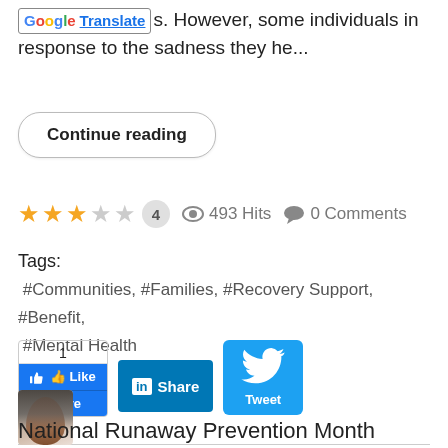r... However, some individuals in response to the sadness they he...
Continue reading
★★★☆☆ 4   493 Hits   0 Comments
Tags: #Communities, #Families, #Recovery Support, #Benefit, #Mental Health
[Figure (other): Social sharing buttons: Facebook Like/Share, LinkedIn Share, Twitter Tweet]
[Figure (photo): Small square thumbnail photo of a person (woman with dark hair)]
National Runaway Prevention Month